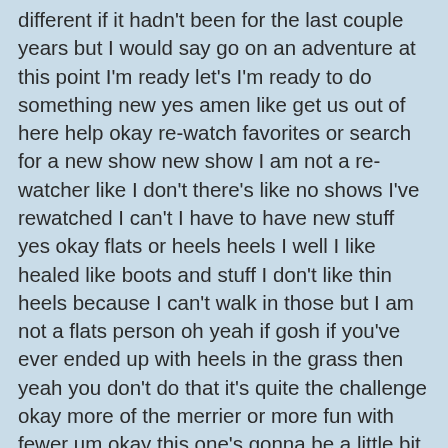different if it hadn't been for the last couple years but I would say go on an adventure at this point I'm ready let's I'm ready to do something new yes amen like get us out of here help okay re-watch favorites or search for a new show new show I am not a re-watcher like I don't there's like no shows I've rewatched I can't I have to have new stuff yes okay flats or heels heels I well I like healed like boots and stuff I don't like thin heels because I can't walk in those but I am not a flats person oh yeah if gosh if you've ever ended up with heels in the grass then yeah you don't do that it's quite the challenge okay more of the merrier or more fun with fewer um okay this one's gonna be a little bit of a cop-out but I am the person who I think it's actually more fun with fewer people almost always like I'm I like fewer people in a group but I also cannot help